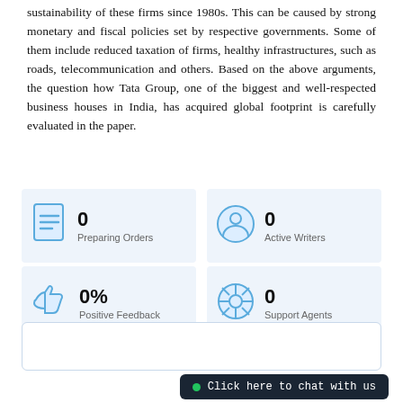sustainability of these firms since 1980s. This can be caused by strong monetary and fiscal policies set by respective governments. Some of them include reduced taxation of firms, healthy infrastructures, such as roads, telecommunication and others. Based on the above arguments, the question how Tata Group, one of the biggest and well-respected business houses in India, has acquired global footprint is carefully evaluated in the paper.
[Figure (infographic): Four stat cards in a 2x2 grid. Top-left: document icon, 0, Preparing Orders. Top-right: person/user icon, 0, Active Writers. Bottom-left: thumbs-up icon, 0%, Positive Feedback. Bottom-right: lifebuoy/support icon, 0, Support Agents.]
[Figure (screenshot): Dark chat bar at bottom right with green dot and text: Click here to chat with us]